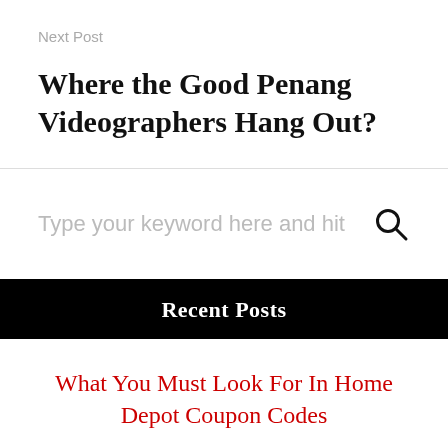Next Post
Where the Good Penang Videographers Hang Out?
Type your keyword here and hit
Recent Posts
What You Must Look For In Home Depot Coupon Codes